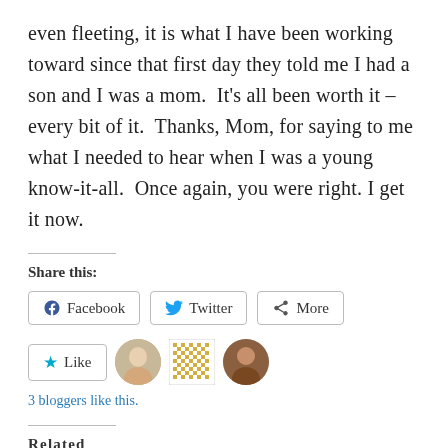even fleeting, it is what I have been working toward since that first day they told me I had a son and I was a mom.  It's all been worth it – every bit of it.  Thanks, Mom, for saying to me what I needed to hear when I was a young know-it-all.  Once again, you were right. I get it now.
Share this:
Facebook   Twitter   More
Like
3 bloggers like this.
Related
Angels Along the Way
July 23, 2011
In "Cancer"
Friday Flash Fiction
February 19, 2016
In "Flash Friday Fiction"